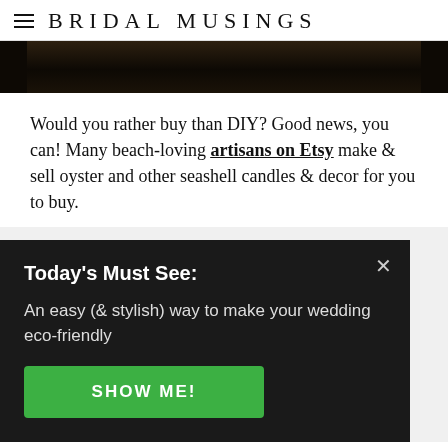BRIDAL MUSINGS
[Figure (photo): Dark textured photo strip, partial view of image at top of article]
Would you rather buy than DIY? Good news, you can! Many beach-loving artisans on Etsy make & sell oyster and other seashell candles & decor for you to buy.
Today's Must See:
An easy (& stylish) way to make your wedding eco-friendly
SHOW ME!